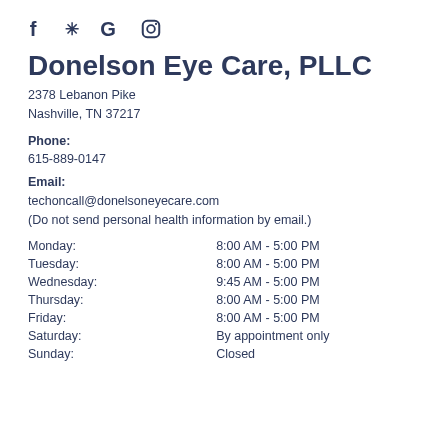[Figure (logo): Social media icons: Facebook, Yelp, Google, Instagram]
Donelson Eye Care, PLLC
2378 Lebanon Pike
Nashville, TN 37217
Phone:
615-889-0147
Email:
techoncall@donelsoneyecare.com
(Do not send personal health information by email.)
| Day | Hours |
| --- | --- |
| Monday: | 8:00 AM - 5:00 PM |
| Tuesday: | 8:00 AM - 5:00 PM |
| Wednesday: | 9:45 AM - 5:00 PM |
| Thursday: | 8:00 AM - 5:00 PM |
| Friday: | 8:00 AM - 5:00 PM |
| Saturday: | By appointment only |
| Sunday: | Closed |